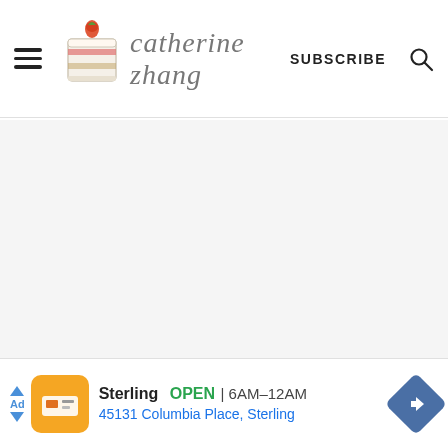catherine zhang — SUBSCRIBE
[Figure (other): Blank light gray main content area of the website]
Sterling  OPEN | 6AM–12AM  45131 Columbia Place, Sterling